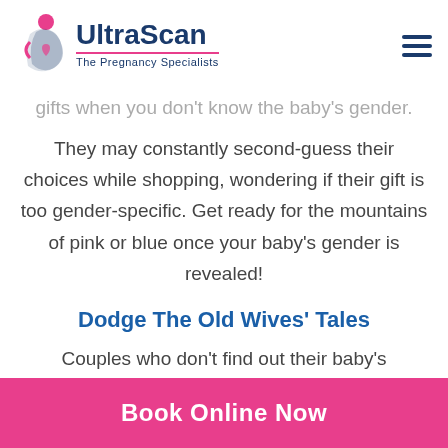[Figure (logo): UltraScan – The Pregnancy Specialists logo with pink and blue figure icon]
gifts when you don't know the baby's gender.
They may constantly second-guess their choices while shopping, wondering if their gift is too gender-specific. Get ready for the mountains of pink or blue once your baby's gender is revealed!
Dodge The Old Wives' Tales
Couples who don't find out their baby's
Book Online Now